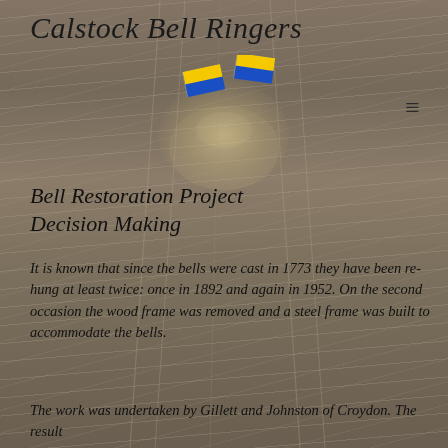Calstock Bell Ringers
[Figure (illustration): Two blue and yellow diagonal-striped flags (Cornwall/Calstock colours), displayed as emoji-style flags side by side]
[Figure (photo): Background photo of a church bell close-up with chains/ropes, illuminated with warm light, muted brownish-grey tones]
Bell Restoration Project Decision Making
It is known that since the bells were cast in 1773 they have been re-hung at least twice: once in 1892 and again in 1952. On the second occasion the wood frame was removed and a steel frame was built to accommodate the bells.
The work was undertaken by Gillett and Johnston of Croydon. The result